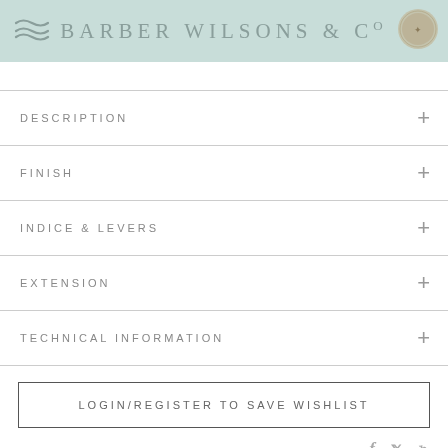BARBER WILSONS & CO
DESCRIPTION
FINISH
INDICE & LEVERS
EXTENSION
TECHNICAL INFORMATION
LOGIN/REGISTER TO SAVE WISHLIST